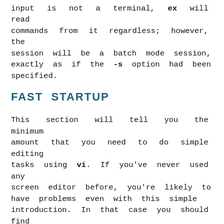input is not a terminal, ex will read commands from it regardless; however, the session will be a batch mode session, exactly as if the -s option had been specified.
FAST STARTUP
This section will tell you the minimum amount that you need to do simple editing tasks using vi. If you've never used any screen editor before, you're likely to have problems even with this simple introduction. In that case you should find someone that already knows vi and have them walk you through this section.
vi is a screen editor. This means that it takes up almost the entire screen, displaying part of the file on each screen